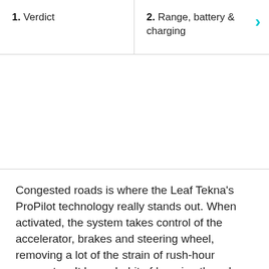1. Verdict
2. Range, battery & charging
[Figure (photo): White/blank image area below navigation bar]
Congested roads is where the Leaf Tekna's ProPilot technology really stands out. When activated, the system takes control of the accelerator, brakes and steering wheel, removing a lot of the strain of rush-hour commutes. It has a habit of hugging the edge of the lane a little too tightly, it must be said, and it can